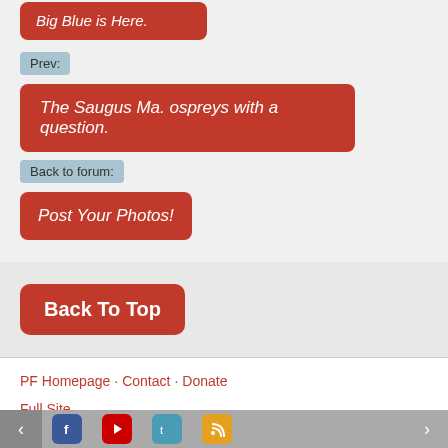Big Blue is Here.
Prev:
The Saugus Ma. ospreys with a question.
Back to forum:
Post Your Photos!
Back To Top
PF Homepage · Contact · Donate
Full Site
Light Theme · Dark Theme
© 2006-2022 PentaxForums.com